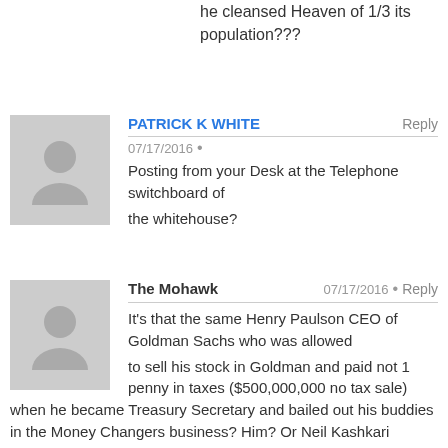he cleansed Heaven of 1/3 its population???
PATRICK K WHITE
07/17/2016
Posting from your Desk at the Telephone switchboard of the whitehouse?
The Mohawk
07/17/2016
It's that the same Henry Paulson CEO of Goldman Sachs who was allowed to sell his stock in Goldman and paid not 1 penny in taxes ($500,000,000 no tax sale) when he became Treasury Secretary and bailed out his buddies in the Money Changers business? Him? Or Neil Kashkari (former Goldman Sachs crony) who organized TARP and bailed out his buddies and then back to work at the Fed? (after running for Governor–huh!–that was